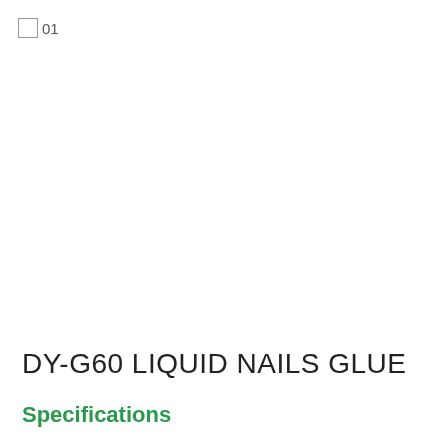01
DY-G60 LIQUID NAILS GLUE
Specifications